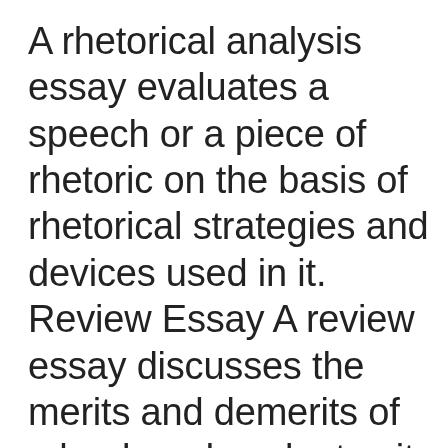A rhetorical analysis essay evaluates a speech or a piece of rhetoric on the basis of rhetorical strategies and devices used in it. Review Essay A review essay discusses the merits and demerits of a book and evaluates it through a review. Simple Essay A simple essay is just a five-paragraph essay that